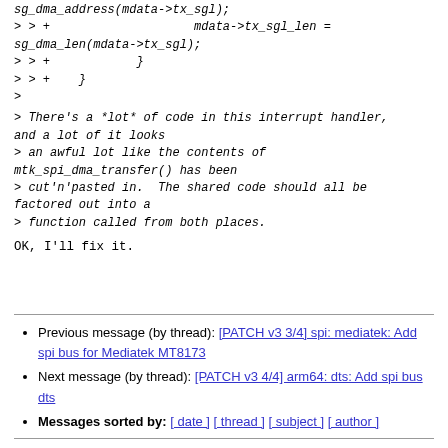sg_dma_address(mdata->tx_sgl);
> > +                    mdata->tx_sgl_len =
sg_dma_len(mdata->tx_sgl);
> > +            }
> > +    }
>
> There's a *lot* of code in this interrupt handler, and a lot of it looks
> an awful lot like the contents of mtk_spi_dma_transfer() has been
> cut'n'pasted in.  The shared code should all be factored out into a
> function called from both places.
OK, I'll fix it.
Previous message (by thread): [PATCH v3 3/4] spi: mediatek: Add spi bus for Mediatek MT8173
Next message (by thread): [PATCH v3 4/4] arm64: dts: Add spi bus dts
Messages sorted by: [ date ] [ thread ] [ subject ] [ author ]
More information about the Linux-mediatek mailing list